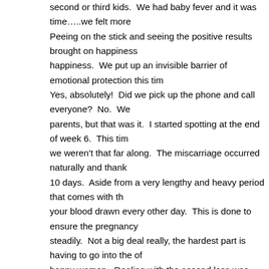second or third kids.  We had baby fever and it was time…..we felt more ready. Peeing on the stick and seeing the positive results brought on happiness…mixed happiness.  We put up an invisible barrier of emotional protection this time around. Yes, absolutely!  Did we pick up the phone and call everyone?  No.  We told our parents, but that was it.  I started spotting at the end of week 6.  This time around we weren't that far along.  The miscarriage occurred naturally and thankfully within 10 days.  Aside from a very lengthy and heavy period that comes with that, you have your blood drawn every other day.  This is done to ensure the pregnancy hormone drops steadily.  Not a big deal really, the hardest part is having to go into the office with happy women.  Dealing with the second loss was much different, and in some ways easier. I didn't stay home to grieve, but I did take one sick day.  Co-workers, friends had no idea what had happened.  I didn't get attached to the idea of being a mom because like I said we tried to keep our emotions in check.  But, it was sad and it took just as long to heal again.  We had lots of unanswerable questions and wondered why this kept happening, happen again.  That's the most frustrating part - you don't get closure.  Why in modern medicine why miscarriages occur is still a bit of a mystery.  There are lots of reasons but pin pointing exactly why each one happens is almost impossible.  This time my husband was ready to try again before I was.  Part of me was over the idea of being a mom.  I was perfectly happy being a doggie mama and a wonderful Aunt.  Maybe having children of our own wasn't for us.  While out shopping for a cousins baby shower one day I surprised myself by purchasing newborn sized outfits…….for me.  I was drawn to them and for some unexplainable reason, I bought them. So I did and we decided to give round 3 a shot.
We found out we were pregnant again right around the same time my br